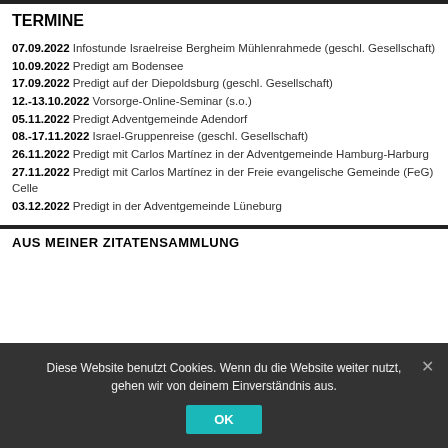TERMINE
07.09.2022 Infostunde Israelreise Bergheim Mühlenrahmede (geschl. Gesellschaft)
10.09.2022 Predigt am Bodensee
17.09.2022 Predigt auf der Diepoldsburg (geschl. Gesellschaft)
12.-13.10.2022 Vorsorge-Online-Seminar (s.o.)
05.11.2022 Predigt Adventgemeinde Adendorf
08.-17.11.2022 Israel-Gruppenreise (geschl. Gesellschaft)
26.11.2022 Predigt mit Carlos Martínez in der Adventgemeinde Hamburg-Harburg
27.11.2022 Predigt mit Carlos Martínez in der Freie evangelische Gemeinde (FeG) Celle
03.12.2022 Predigt in der Adventgemeinde Lüneburg
AUS MEINER ZITATENSAMMLUNG
Diese Website benutzt Cookies. Wenn du die Website weiter nutzt, gehen wir von deinem Einverständnis aus.